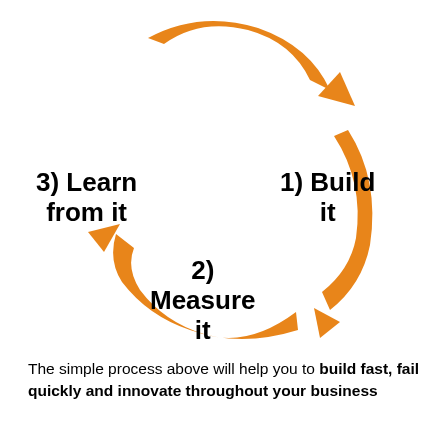[Figure (flowchart): Circular process diagram with three orange curved arrows forming a cycle. Arrow 1 points right at top (from left to right), arrow 2 curves down on the right side, arrow 3 curves up-left on the bottom-left. Labels: '1) Build it' (top-right), '2) Measure it' (bottom-center), '3) Learn from it' (top-left).]
The simple process above will help you to build fast, fail quickly and innovate throughout your business